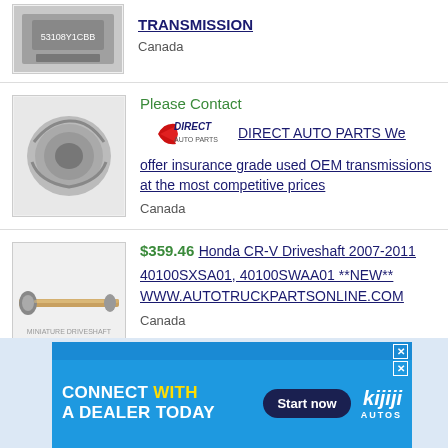[Figure (photo): Partial view of a transmission part with label/sticker visible, top of listing]
TRANSMISSION
Canada
[Figure (photo): Chrome/silver transmission unit]
Please Contact
[Figure (logo): Direct Auto Parts logo - red swoosh with text]
DIRECT AUTO PARTS We offer insurance grade used OEM transmissions at the most competitive prices
Canada
[Figure (photo): Honda CR-V driveshaft, long silver/copper rod]
$359.46 Honda CR-V Driveshaft 2007-2011 40100SXSA01, 40100SWAA01 **NEW** WWW.AUTOTRUCKPARTSONLINE.COM
Canada
[Figure (screenshot): Kijiji Autos advertisement banner - CONNECT WITH A DEALER TODAY, Start now button, kijiji AUTOS logo]